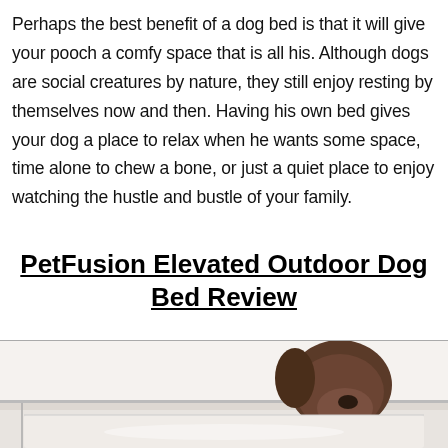Perhaps the best benefit of a dog bed is that it will give your pooch a comfy space that is all his. Although dogs are social creatures by nature, they still enjoy resting by themselves now and then. Having his own bed gives your dog a place to relax when he wants some space, time alone to chew a bone, or just a quiet place to enjoy watching the hustle and bustle of your family.
PetFusion Elevated Outdoor Dog Bed Review
[Figure (photo): Photo of a dog lying on a PetFusion elevated outdoor dog bed, viewed from the front, showing the dog's head resting on the white/grey bed frame.]